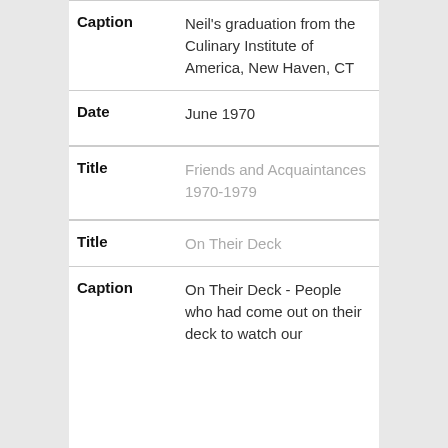| Field | Value |
| --- | --- |
| Caption | Neil's graduation from the Culinary Institute of America, New Haven, CT |
| Date | June 1970 |
| Title | Friends and Acquaintances 1970-1979 |
| Title | On Their Deck |
| Caption | On Their Deck - People who had come out on their deck to watch our |